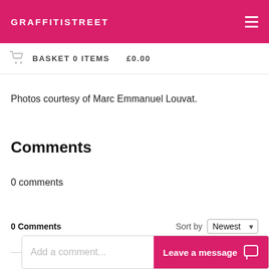GRAFFITISTREET
BASKET 0 ITEMS   £0.00
Photos courtesy of Marc Emmanuel Louvat.
Comments
0 comments
0 Comments   Sort by Newest
Add a comment...   Leave a message